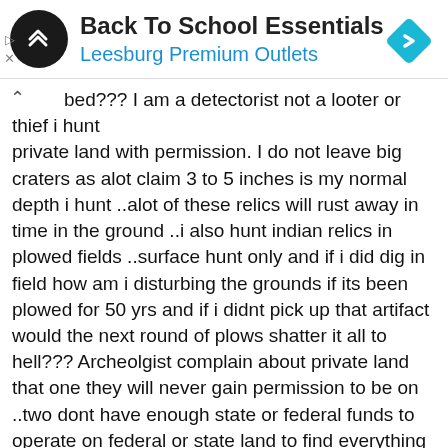[Figure (screenshot): Advertisement banner for 'Back To School Essentials' at Leesburg Premium Outlets, with a black circular logo featuring a double arrow symbol, and a cyan diamond navigation icon on the right.]
bed??? I am a detectorist not a looter or thief i hunt private land with permission. I do not leave big craters as alot claim 3 to 5 inches is my normal depth i hunt ..alot of these relics will rust away in time in the ground ..i also hunt indian relics in plowed fields ..surface hunt only and if i did dig in field how am i disturbing the grounds if its been plowed for 50 yrs and if i didnt pick up that artifact would the next round of plows shatter it all to hell??? Archeolgist complain about private land that one they will never gain permission to be on ..two dont have enough state or federal funds to operate on federal or state land to find everything in the first place on that said land ...leave private land and hobby alone and worry about all the other stuff you need to deal with ..not against archeology at all ...lot of knowledge has and will come from it ..